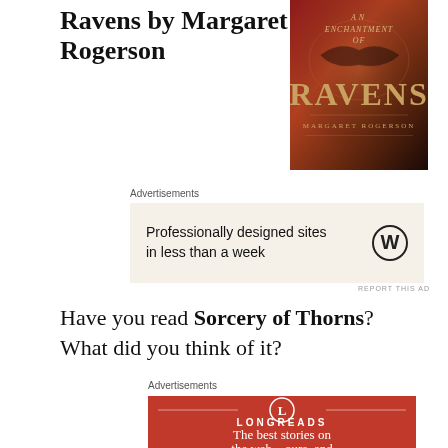Ravens by Margaret Rogerson
[Figure (illustration): Book cover of 'An Enchantment of Ravens' by Margaret Rogerson — dark reddish-brown background with ornate text, a figure with flowing hair]
Advertisements
[Figure (screenshot): WordPress advertisement banner with beige background: 'Professionally designed sites in less than a week' with WordPress logo]
REPORT THIS AD
Have you read Sorcery of Thorns? What did you think of it?
Advertisements
[Figure (screenshot): Longreads advertisement with red background: circle logo with L, 'LONGREADS', 'The best stories on the web – ours, and']